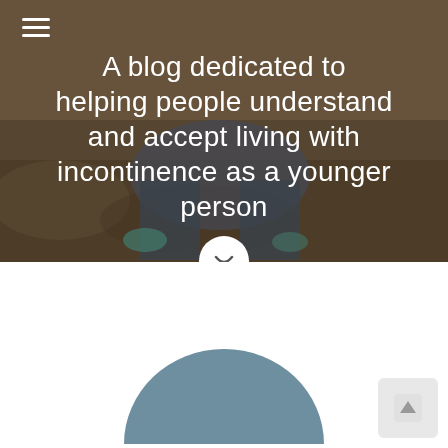[Figure (photo): Hero image of a person sitting on the ground outdoors, with a muted brown/earth tone background. White text overlay with blog tagline. Hamburger menu icon in top left.]
A blog dedicated to helping people understand and accept living with incontinence as a younger person
[Figure (illustration): Circular avatar placeholder using a muted steel-blue semi-circle at the bottom of the page, partially visible. A back-to-top button (light gray rounded square with upward arrow) in the bottom right corner.]